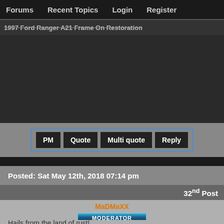Forums   Recent Topics   Login   Register
1997 Ford Ranger A21 Frame On Restoration
[Figure (photo): Dark image area, likely a photo of a vehicle frame restoration]
PM   Quote   Multi quote   Reply
Posted: Sat May 12th, 2018 07:14 pm
32nd Post
MaDMaXX
MODERATOR
Hails from the land of rust!
Status:  Offline